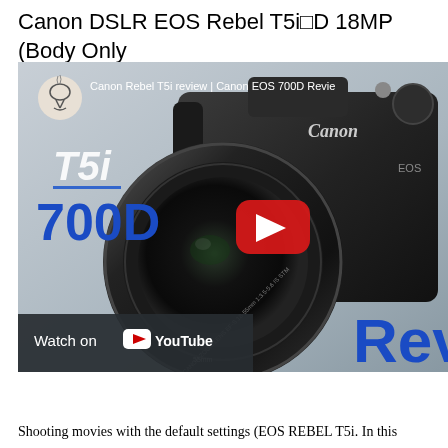Canon DSLR EOS Rebel T5i□D 18MP (Body Only
[Figure (screenshot): YouTube video thumbnail showing Canon Rebel T5i / Canon EOS 700D Review. A Canon DSLR camera is shown prominently with T5i and 700D text overlaid in blue. A red YouTube play button is centered. Bottom left shows 'Watch on YouTube' bar.]
Shooting movies with the default settings (EOS REBEL T5i. In this